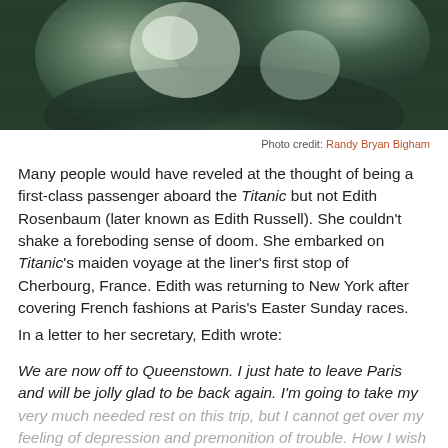[Figure (photo): Black and white close-up photograph of a person, likely archival/historical image with green-tinted tones]
Photo credit: Randy Bryan Bigham
Many people would have reveled at the thought of being a first-class passenger aboard the Titanic but not Edith Rosenbaum (later known as Edith Russell). She couldn't shake a foreboding sense of doom. She embarked on Titanic's maiden voyage at the liner's first stop of Cherbourg, France. Edith was returning to New York after covering French fashions at Paris's Easter Sunday races.
In a letter to her secretary, Edith wrote:
We are now off to Queenstown. I just hate to leave Paris and will be jolly glad to be back again. I'm going to take my very much needed rest on this trip, but I cannot get over my feeling of depression and premonition of trouble. How I wish it were over!